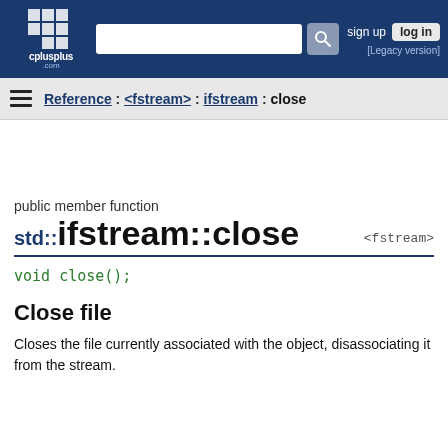cplusplus.com — sign up  log in  [Legacy version]
Reference : <fstream> : ifstream : close
public member function
std::ifstream::close
<fstream>
Close file
Closes the file currently associated with the object, disassociating it from the stream.